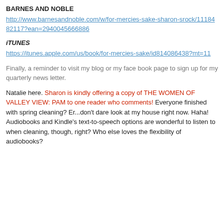BARNES AND NOBLE
http://www.barnesandnoble.com/w/for-mercies-sake-sharon-srock/1118482117?ean=2940045666886
iTUNES
https://itunes.apple.com/us/book/for-mercies-sake/id814086438?mt=11
Finally, a reminder to visit my blog or my face book page to sign up for my quarterly news letter.
Natalie here. Sharon is kindly offering a copy of THE WOMEN OF VALLEY VIEW: PAM to one reader who comments! Everyone finished with spring cleaning? Er...don't dare look at my house right now. Haha! Audiobooks and Kindle's text-to-speech options are wonderful to listen to when cleaning, though, right? Who else loves the flexibility of audiobooks?